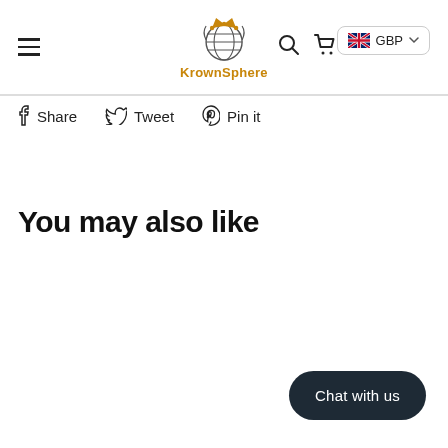KrownSphere — GBP navigation header with hamburger menu, search and cart icons
Share  Tweet  Pin it
You may also like
Chat with us